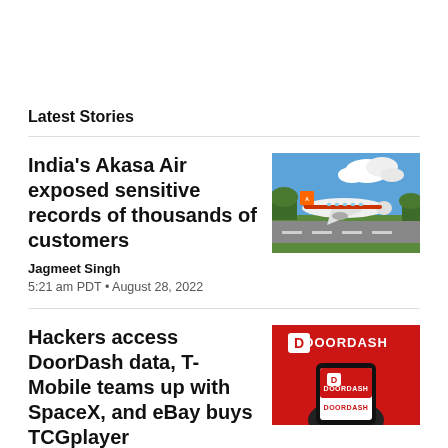Latest Stories
India's Akasa Air exposed sensitive records of thousands of customers
Jagmeet Singh
5:21 am PDT • August 28, 2022
[Figure (photo): Akasa Air airplane on runway with blue sky and greenery in background]
Hackers access DoorDash data, T-Mobile teams up with SpaceX, and eBay buys TCGplayer
[Figure (photo): DoorDash logo on red background with a phone displaying DoorDash app in foreground]